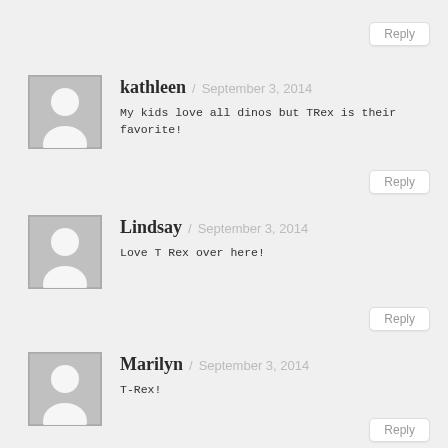[Figure (illustration): Gray placeholder avatar with silhouette for kathleen]
kathleen / September 3, 2014
My kids love all dinos but TRex is their favorite!
[Figure (illustration): Gray placeholder avatar with silhouette for Lindsay]
Lindsay / September 3, 2014
Love T Rex over here!
[Figure (illustration): Gray placeholder avatar with silhouette for Marilyn]
Marilyn / September 3, 2014
T-Rex!